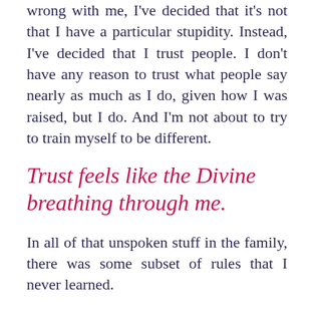wrong with me, I've decided that it's not that I have a particular stupidity. Instead, I've decided that I trust people. I don't have any reason to trust what people say nearly as much as I do, given how I was raised, but I do. And I'm not about to try to train myself to be different.
Trust feels like the Divine breathing through me.
In all of that unspoken stuff in the family, there was some subset of rules that I never learned.
Contrary as it may appear, I actually like rules. I have such a preference to be in an